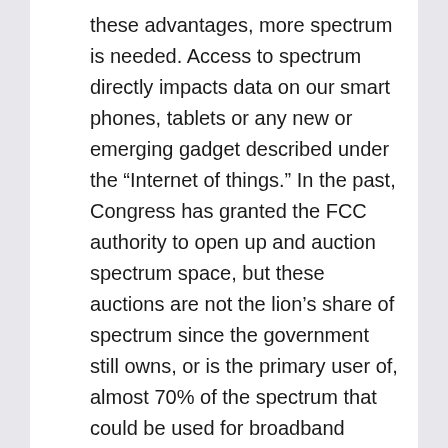these advantages, more spectrum is needed. Access to spectrum directly impacts data on our smart phones, tablets or any new or emerging gadget described under the “Internet of things.” In the past, Congress has granted the FCC authority to open up and auction spectrum space, but these auctions are not the lion’s share of spectrum since the government still owns, or is the primary user of, almost 70% of the spectrum that could be used for broadband technologies. Because there is so much demand by the general public for more data, the government working with the private sector, should auction off more spectrum. This can be used by real innovators in the technology space to satisfy the consumer demand for cheaper, faster, better technology. That said, Messrs. Genachowski and McDowell made several recommendations about how Congress should proceed with the auction of spectrum. They